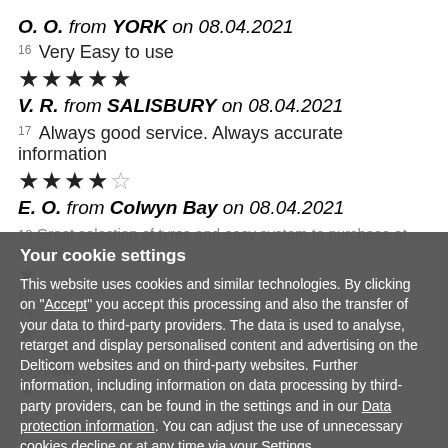O. O. from YORK on 08.04.2021
16 Very Easy to use
★★★★★
V. R. from SALISBURY on 08.04.2021
17 Always good service. Always accurate information
★★★★☆
E. O. from Colwyn Bay on 08.04.2021
18 Great selection of tyres and easy system to purchase at good value
Your cookie settings
This website uses cookies and similar technologies. By clicking on "Accept" you accept this processing and also the transfer of your data to third-party providers. The data is used to analyse, retarget and display personalised content and advertising on the Delticom websites and on third-party websites. Further information, including information on data processing by third-party providers, can be found in the settings and in our Data protection information. You can adjust the use of unnecessary cookies decline or at any time via your Settings.
Accept